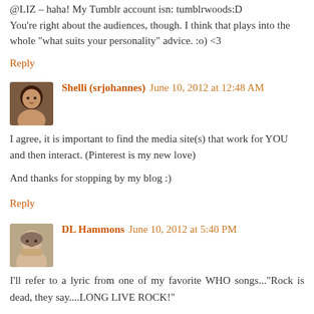@LIZ – haha! My Tumblr account isn: tumblrwoods:D You're right about the audiences, though. I think that plays into the whole "what suits your personality" advice. :o) <3
Reply
Shelli (srjohannes) June 10, 2012 at 12:48 AM
I agree, it is important to find the media site(s) that work for YOU and then interact. (Pinterest is my new love)

And thanks for stopping by my blog :)
Reply
DL Hammons June 10, 2012 at 5:40 PM
I'll refer to a lyric from one of my favorite WHO songs..."Rock is dead, they say....LONG LIVE ROCK!"

:)
Reply